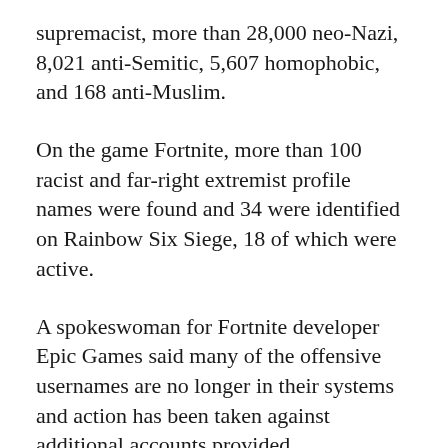supremacist, more than 28,000 neo-Nazi, 8,021 anti-Semitic, 5,607 homophobic, and 168 anti-Muslim.
On the game Fortnite, more than 100 racist and far-right extremist profile names were found and 34 were identified on Rainbow Six Siege, 18 of which were active.
A spokeswoman for Fortnite developer Epic Games said many of the offensive usernames are no longer in their systems and action has been taken against additional accounts provided.
“Usernames that include vulgarity, hate speech